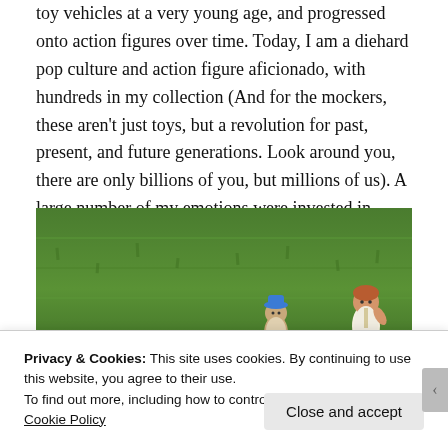toy vehicles at a very young age, and progressed onto action figures over time. Today, I am a diehard pop culture and action figure aficionado, with hundreds in my collection (And for the mockers, these aren't just toys, but a revolution for past, present, and future generations. Look around you, there are only billions of you, but millions of us). A large number of my emotions were invested in sports, my other passion.
[Figure (photo): Photo of two action figures (one with blue hat, one in white) standing on green grass]
Privacy & Cookies: This site uses cookies. By continuing to use this website, you agree to their use.
To find out more, including how to control cookies, see here: Cookie Policy